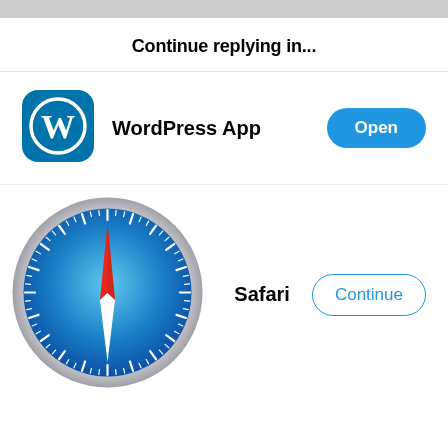Continue replying in...
[Figure (logo): WordPress app icon: blue rounded square with white W letter logo inside a circle]
WordPress App
[Figure (illustration): Open button: blue pill-shaped button with white text 'Open']
[Figure (logo): Safari browser icon: circular compass with blue gradient background, red and white compass needle pointing up-right, white tick marks around the edge]
Safari
[Figure (illustration): Continue button: white pill-shaped button with blue border and blue text 'Continue']